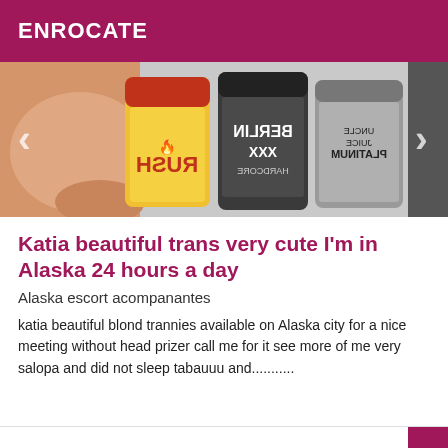ENROCATE
[Figure (photo): Photo of supplement/popper bottles including Rush, Berlin XXX Hardcore, Uncle Juice Platinum, with a muscular arm on the left and a dark figure on the right. Navigation arrows visible on sides.]
Katia beautiful trans very cute I'm in Alaska 24 hours a day
Alaska escort acompanantes
katia beautiful blond trannies available on Alaska city for a nice meeting without head prizer call me for it see more of me very salopa and did not sleep tabauuu and...........